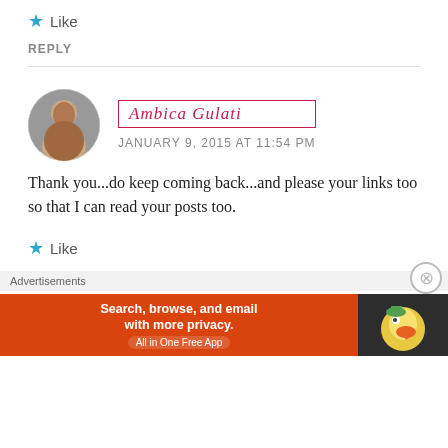Like
REPLY
AMBICA GULATI
JANUARY 9, 2015 AT 11:54 PM
Thank you...do keep coming back...and please your links too so that I can read your posts too.
Like
Advertisements
[Figure (screenshot): DuckDuckGo advertisement banner: orange section with text 'Search, browse, and email with more privacy. All in One Free App' and dark section with DuckDuckGo duck logo]